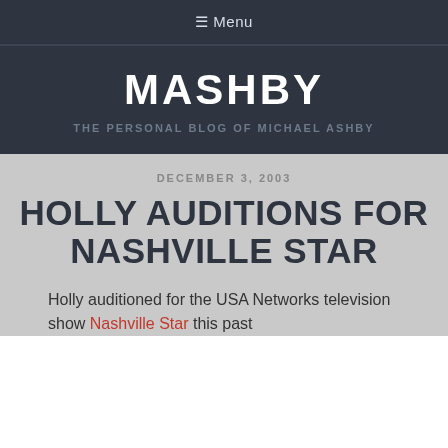☰ Menu
MASHBY
THE PERSONAL BLOG OF MICHAEL ASHBY
DECEMBER 3, 2003
HOLLY AUDITIONS FOR NASHVILLE STAR
Holly auditioned for the USA Networks television show Nashville Star this past